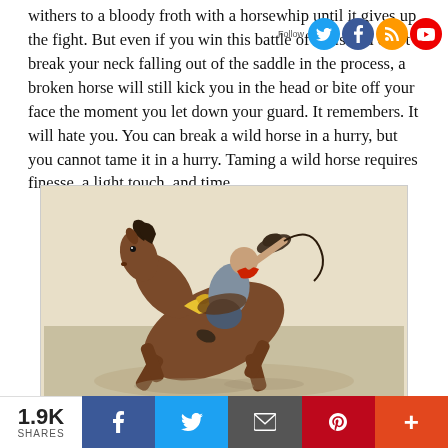withers to a bloody froth with a horsewhip until it gives up the fight. But even if you win this battle of wills and don't break your neck falling out of the saddle in the process, a broken horse will still kick you in the head or bite off your face the moment you let down your guard. It remembers. It will hate you. You can break a wild horse in a hurry, but you cannot tame it in a hurry. Taming a wild horse requires finesse, a light touch, and time.
[Figure (illustration): Painting of a cowboy riding a bucking horse, whip raised, horse rearing dramatically. Western art style illustration with warm beige/brown tones.]
1.9K SHARES | Facebook share | Twitter share | Email share | Pinterest share | More